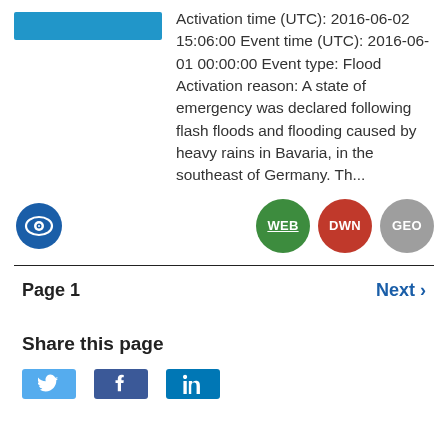[Figure (other): Blue rectangular banner at top left]
Activation time (UTC): 2016-06-02 15:06:00 Event time (UTC): 2016-06-01 00:00:00 Event type: Flood Activation reason: A state of emergency was declared following flash floods and flooding caused by heavy rains in Bavaria, in the southeast of Germany. Th...
[Figure (other): Eye icon (blue circle with eye symbol) and three badge buttons: WEB (green), DWN (red), GEO (grey)]
Page 1
Next >
Share this page